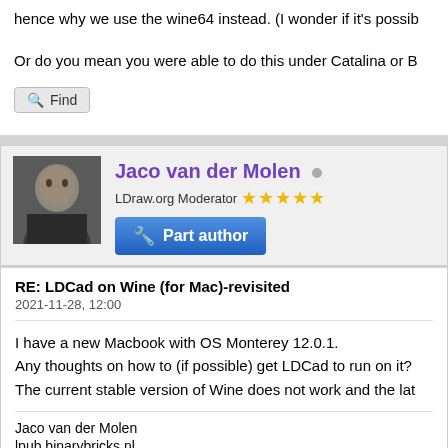hence why we use the wine64 instead. (I wonder if it's possib
Or do you mean you were able to do this under Catalina or B
Find
Jaco van der Molen
LDraw.org Moderator ★★★★★
Part author
RE: LDCad on Wine (for Mac)-revisited
2021-11-28, 12:00
I have a new Macbook with OS Monterey 12.0.1.
Any thoughts on how to (if possible) get LDCad to run on it?
The current stable version of Wine does not work and the lat
Jaco van der Molen
lpub.binarybricks.nl
Find